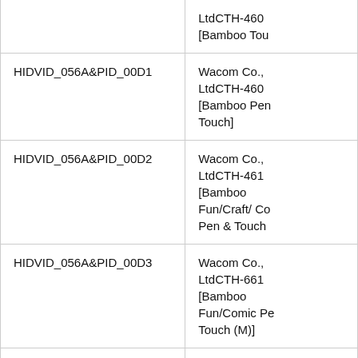| Device ID | Description |
| --- | --- |
|  | LtdCTH-460 [Bamboo Tou |
| HIDVID_056A&PID_00D1 | Wacom Co., LtdCTH-460 [Bamboo Pen Touch] |
| HIDVID_056A&PID_00D2 | Wacom Co., LtdCTH-461 [Bamboo Fun/Craft/ Co Pen & Touch |
| HIDVID_056A&PID_00D3 | Wacom Co., LtdCTH-661 [Bamboo Fun/Comic Pe Touch (M)] |
| HIDVID_056A&PID_00D4 | Wacom Co., |